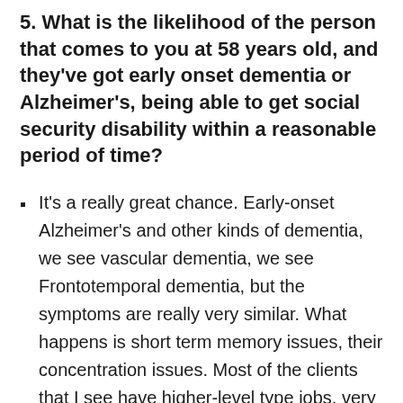5. What is the likelihood of the person that comes to you at 58 years old, and they've got early onset dementia or Alzheimer's, being able to get social security disability within a reasonable period of time?
It's a really great chance. Early-onset Alzheimer's and other kinds of dementia, we see vascular dementia, we see Frontotemporal dementia, but the symptoms are really very similar. What happens is short term memory issues, their concentration issues. Most of the clients that I see have higher-level type jobs, very skilled type jobs. Sedentary jobs where they need the brain functioning...